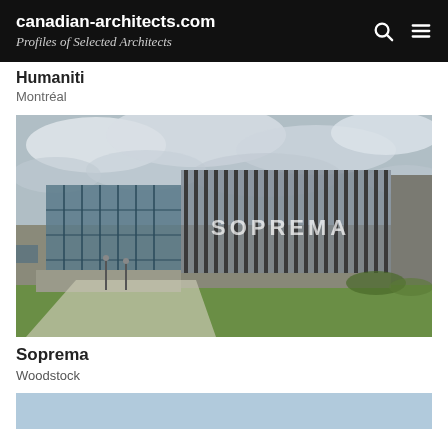canadian-architects.com — Profiles of Selected Architects
Humaniti
Montréal
[Figure (photo): Exterior photograph of the Soprema building in Woodstock: a modern industrial/commercial structure featuring a large glass curtain wall on the left, a central section with vertical metal fins/louvers with SOPREMA lettering visible through them, and a solid concrete/gray panel section on the right. Green lawn in foreground, overcast sky.]
Soprema
Woodstock
[Figure (photo): Partial view of another architectural project photo, showing a light blue/gray toned image, cropped at the bottom of the page.]